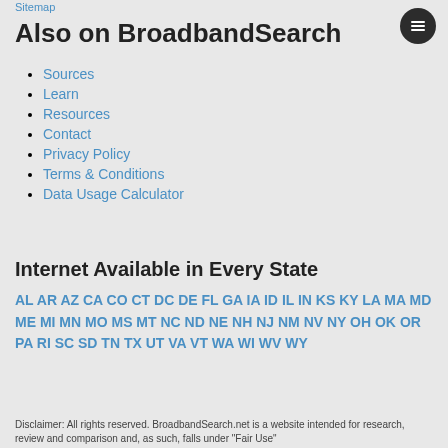Sitemap
Also on BroadbandSearch
Sources
Learn
Resources
Contact
Privacy Policy
Terms & Conditions
Data Usage Calculator
Internet Available in Every State
AL AR AZ CA CO CT DC DE FL GA IA ID IL IN KS KY LA MA MD ME MI MN MO MS MT NC ND NE NH NJ NM NV NY OH OK OR PA RI SC SD TN TX UT VA VT WA WI WV WY
Disclaimer: All rights reserved. BroadbandSearch.net is a website intended for research, review and comparison and, as such, falls under "Fair Use"